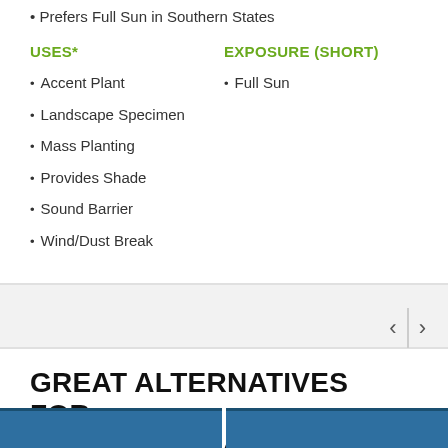Prefers Full Sun in Southern States
USES*
EXPOSURE (SHORT)
Accent Plant
Landscape Specimen
Mass Planting
Provides Shade
Sound Barrier
Wind/Dust Break
Full Sun
GREAT ALTERNATIVES FOR SOMERSET MAPLE